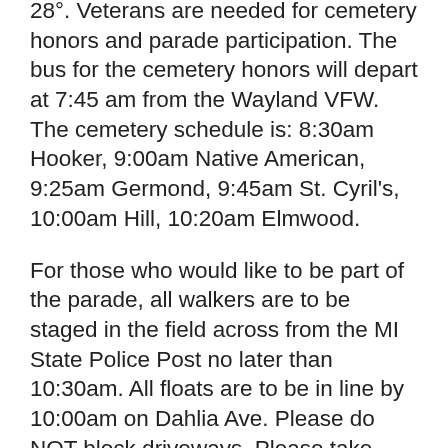28°. Veterans are needed for cemetery honors and parade participation. The bus for the cemetery honors will depart at 7:45 am from the Wayland VFW. The cemetery schedule is: 8:30am Hooker, 9:00am Native American, 9:25am Germond, 9:45am St. Cyril's, 10:00am Hill, 10:20am Elmwood.
For those who would like to be part of the parade, all walkers are to be staged in the field across from the MI State Police Post no later than 10:30am. All floats are to be in line by 10:00am on Dahlia Ave. Please do NOT block driveways. Please take Park Street or Mill Street to Dahlia Ave as it is much to difficult to turn around on Dahlia to face the correct direction if you take Main St or Park St.
Beginning at 11:00am is the Annual Memorial Day